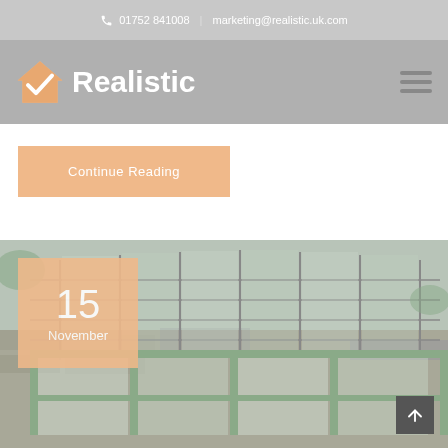📞 01752 841008  |  marketing@realistic.uk.com
[Figure (logo): Realistic company logo with house checkmark icon and white bold text 'Realistic' on grey background, hamburger menu icon on right]
Continue Reading
[Figure (photo): Photo of a conservatory/sunroom with glass roof panels and green aluminium frames attached to a stone building. Date badge overlay showing '15 November' in white text on orange background. Scroll-to-top arrow button in bottom right corner.]